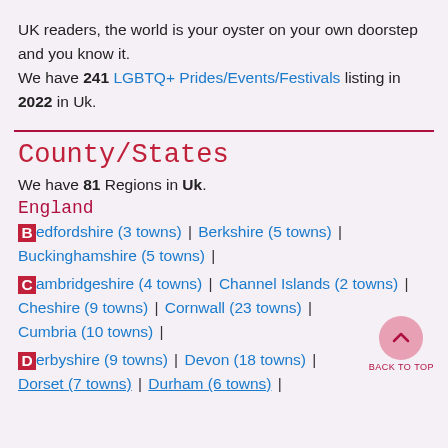UK readers, the world is your oyster on your own doorstep and you know it. We have 241 LGBTQ+ Prides/Events/Festivals listing in 2022 in Uk.
County/States
We have 81 Regions in Uk.
England
Bedfordshire (3 towns) | Berkshire (5 towns) | Buckinghamshire (5 towns) |
Cambridgeshire (4 towns) | Channel Islands (2 towns) | Cheshire (9 towns) | Cornwall (23 towns) | Cumbria (10 towns) |
Derbyshire (9 towns) | Devon (18 towns) | Dorset (7 towns) | Durham (6 towns) |